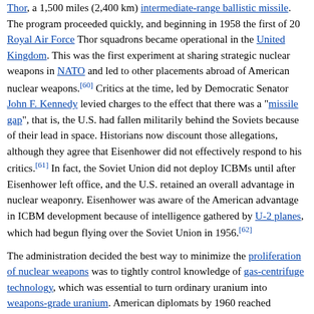Thor, a 1,500 miles (2,400 km) intermediate-range ballistic missile. The program proceeded quickly, and beginning in 1958 the first of 20 Royal Air Force Thor squadrons became operational in the United Kingdom. This was the first experiment at sharing strategic nuclear weapons in NATO and led to other placements abroad of American nuclear weapons.[60] Critics at the time, led by Democratic Senator John F. Kennedy levied charges to the effect that there was a "missile gap", that is, the U.S. had fallen militarily behind the Soviets because of their lead in space. Historians now discount those allegations, although they agree that Eisenhower did not effectively respond to his critics.[61] In fact, the Soviet Union did not deploy ICBMs until after Eisenhower left office, and the U.S. retained an overall advantage in nuclear weaponry. Eisenhower was aware of the American advantage in ICBM development because of intelligence gathered by U-2 planes, which had begun flying over the Soviet Union in 1956.[62]
The administration decided the best way to minimize the proliferation of nuclear weapons was to tightly control knowledge of gas-centrifuge technology, which was essential to turn ordinary uranium into weapons-grade uranium. American diplomats by 1960 reached agreement with the German, Dutch, and British governments to limit access to the technology. The four-power understanding on gas-centrifuge secrecy would last until 1975, when scientist Abdul Qadeer Khan took the Dutch centrifuge